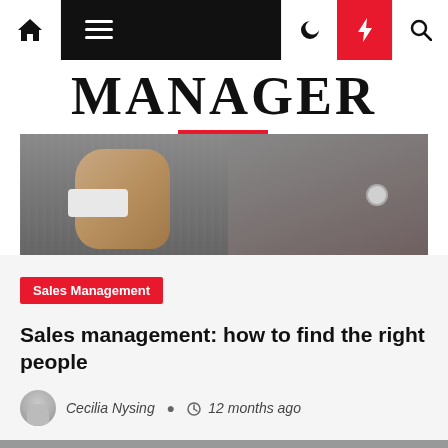Navigation bar with home, menu, dark mode, lightning, and search icons
[Figure (photo): Hero image showing the word MANAGER in large serif font at top, with a photo of a person in a pinstripe suit below]
Sales Management
Sales management: how to find the right people
Cecilia Nysing  12 months ago